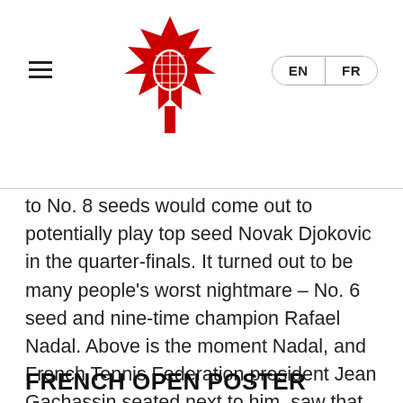Tennis Canada navigation header with logo and EN/FR language toggle
to No. 8 seeds would come out to potentially play top seed Novak Djokovic in the quarter-finals. It turned out to be many people's worst nightmare – No. 6 seed and nine-time champion Rafael Nadal. Above is the moment Nadal, and French Tennis Federation president Jean Gachassin seated next to him, saw that he would be in Djokovic's quarter of the draw. The two did in fact meet with Djokovic beating Nadal 7-5, 6-3, 6-1.
FRENCH OPEN POSTER